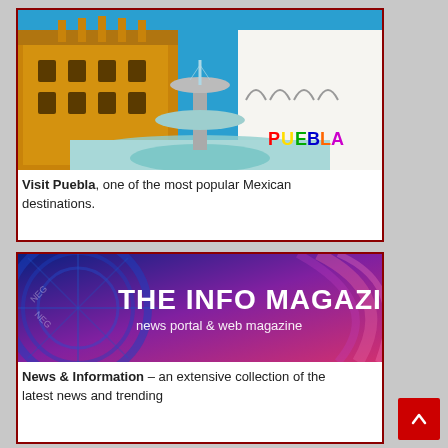[Figure (photo): Photograph of Puebla Mexico plaza with fountain and colorful PUEBLA sign, yellow colonial building and white arched building in background, bright blue sky]
Visit Puebla, one of the most popular Mexican destinations.
[Figure (photo): The Info Magazine banner image with dark blue and purple swirling design, compass rose element, bold white text reading THE INFO MAGAZINE and subtitle news portal & web magazine]
News & Information – an extensive collection of the latest news and trending